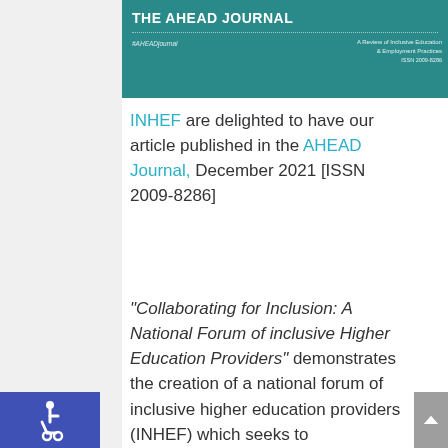THE AHEAD JOURNAL
#AHEADjournal
A Review of Inclusive Education & Employment Practices
ISSN 2009-8286
INHEF are delighted to have our article published in the AHEAD Journal, December 2021 [ISSN 2009-8286]
"Collaborating for Inclusion: A National Forum of inclusive Higher Education Providers" demonstrates the creation of a national forum of inclusive higher education providers (INHEF) which seeks to collaboratively address the systematic barriers